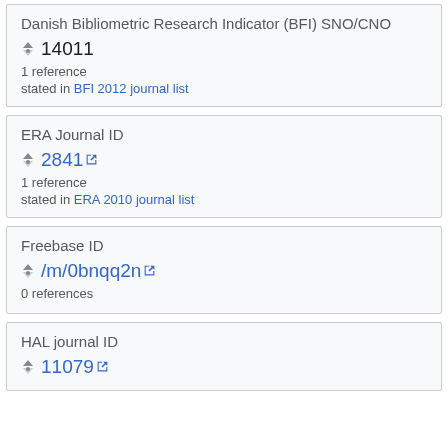Danish Bibliometric Research Indicator (BFI) SNO/CNO
14011
1 reference
stated in BFI 2012 journal list
ERA Journal ID
2841
1 reference
stated in ERA 2010 journal list
Freebase ID
/m/0bnqq2n
0 references
HAL journal ID
11079